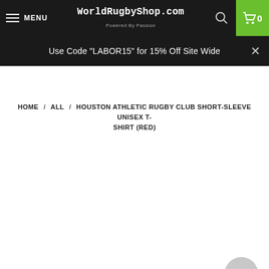MENU | WorldRugbyShop.com Powered By Passion | 0
Use Code "LABOR15" for 15% Off Site Wide
HOME / ALL / HOUSTON ATHLETIC RUGBY CLUB SHORT-SLEEVE UNISEX T-SHIRT (RED)